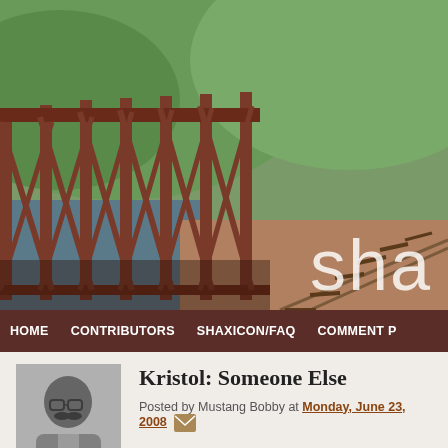[Figure (photo): Blog header image showing a rusty iron railway bridge trestle with green hills and a river in the background. Blog name 'sha' visible at right.]
HOME   CONTRIBUTORS   SHAXICON/FAQ   COMMENT P
[Figure (photo): Black and white headshot photo of a middle-aged man with glasses and a mustache.]
Kristol: Someone Else
Posted by Mustang Bobby at Monday, June 23, 2008
MoveOn.org is not known for being subtle. In fact, I think they w the publicity it generates as a badge of honor. Last summer's full- got enough wing-nuts upset that members of Congress took to the about treason and such and made it The Most Important Issue of t